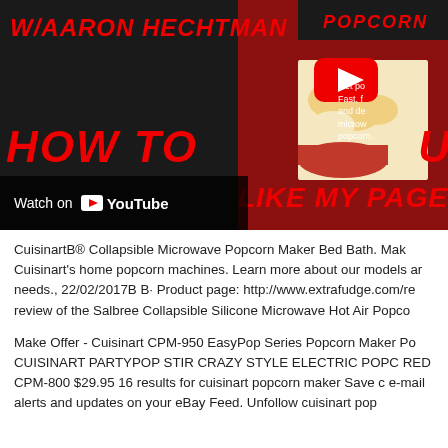[Figure (screenshot): YouTube video thumbnail showing 'HOW TO USE' text in red on dark background with text 'W/AARON HECHTMAN', a popcorn product image on the right, YouTube play button overlay, 'LIKE MY PAGE' text in red, and a 'Watch on YouTube' bar at the bottom left.]
CuisinartB® Collapsible Microwave Popcorn Maker Bed Bath. Mak Cuisinart's home popcorn machines. Learn more about our models ar needs., 22/02/2017B B· Product page: http://www.extrafudge.com/re review of the Salbree Collapsible Silicone Microwave Hot Air Popco
Make Offer - Cuisinart CPM-950 EasyPop Series Popcorn Maker Po CUISINART PARTYPOP STIR CRAZY STYLE ELECTRIC POPC RED CPM-800 $29.95 16 results for cuisinart popcorn maker Save c e-mail alerts and updates on your eBay Feed. Unfollow cuisinart pop